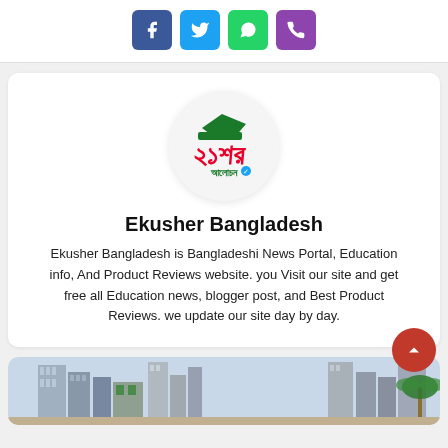[Figure (other): Social media sharing buttons: Facebook (blue), Twitter (light blue), WhatsApp (green), Phone/Viber (purple)]
[Figure (logo): Ekusher Bangladesh circular logo with green cap shape and red Bengali text]
Ekusher Bangladesh
Ekusher Bangladesh is Bangladeshi News Portal, Education info, And Product Reviews website. you Visit our site and get free all Education news, blogger post, and Best Product Reviews. we update our site day by day.
[Figure (photo): Partial view of a city skyline with tall buildings and a palm tree]